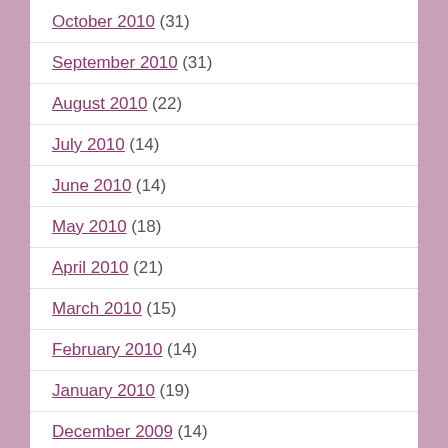October 2010 (31)
September 2010 (31)
August 2010 (22)
July 2010 (14)
June 2010 (14)
May 2010 (18)
April 2010 (21)
March 2010 (15)
February 2010 (14)
January 2010 (19)
December 2009 (14)